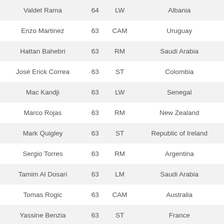| Valdet Rama | 64 | LW | Albania |
| Enzo Martinez | 63 | CAM | Uruguay |
| Hattan Bahebri | 63 | RM | Saudi Arabia |
| José Erick Correa | 63 | ST | Colombia |
| Mac Kandji | 63 | LW | Senegal |
| Marco Rojas | 63 | RM | New Zealand |
| Mark Quigley | 63 | ST | Republic of Ireland |
| Sergio Torres | 63 | RM | Argentina |
| Tamim Al Dosari | 63 | LM | Saudi Arabia |
| Tomas Rogic | 63 | CAM | Australia |
| Yassine Benzia | 63 | ST | France |